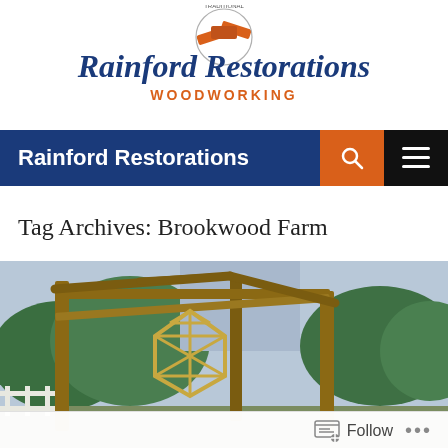[Figure (logo): Traditional Rainford Restorations Woodworking logo — orange stylized wood beam graphic above blue cursive text 'Rainford Restorations' with orange 'WOODWORKING' beneath]
Rainford Restorations
Tag Archives: Brookwood Farm
[Figure (photo): Outdoor photo showing a timber frame barn under construction with wooden beams and framework structure, green trees visible in background, white fence in foreground on left]
Follow ...